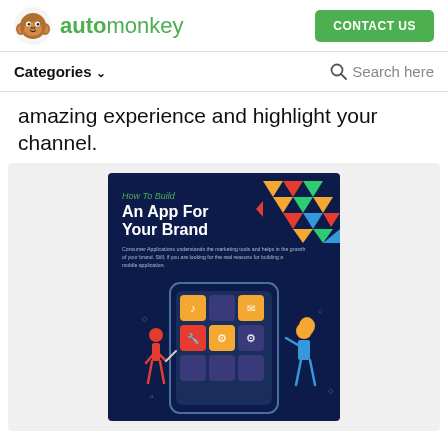automonkey | CONTACT US
Categories ∨  Search here
amazing experience and highlight your channel.
[Figure (infographic): Infographic card with dark navy background titled 'How To Build An App For Your Brand'. Text reads: Consumer Applications understands the marketing tools and helps in the growth of your brand. Still, if you are looking for the real reasons for building a mobile application. Decorative geometric colorful shapes top right. Bottom shows illustration of phone with app icons and two cartoon figures (man and woman) interacting with the phone.]